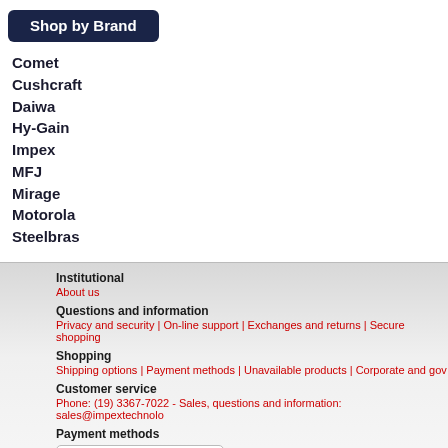Shop by Brand
Comet
Cushcraft
Daiwa
Hy-Gain
Impex
MFJ
Mirage
Motorola
Steelbras
Institutional
About us
Questions and information
Privacy and security | On-line support | Exchanges and returns | Secure shopping
Shopping
Shipping options | Payment methods | Unavailable products | Corporate and gov...
Customer service
Phone: (19) 3367-7022 - Sales, questions and information: sales@impextechnolo...
Payment methods
[Figure (logo): PayPal and Visa/Mastercard payment icons]
© 2022 Impex Technology | Soundv...